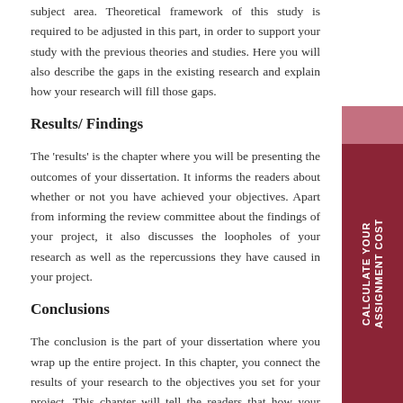subject area. Theoretical framework of this study is required to be adjusted in this part, in order to support your study with the previous theories and studies. Here you will also describe the gaps in the existing research and explain how your research will fill those gaps.
Results/ Findings
The 'results' is the chapter where you will be presenting the outcomes of your dissertation. It informs the readers about whether or not you have achieved your objectives. Apart from informing the review committee about the findings of your project, it also discusses the loopholes of your research as well as the repercussions they have caused in your project.
Conclusions
The conclusion is the part of your dissertation where you wrap up the entire project. In this chapter, you connect the results of your research to the objectives you set for your project. This chapter will tell the readers that how your research works contributed to the project as well
[Figure (other): Vertical dark red sidebar banner with text 'CALCULATE YOUR ASSIGNMENT COST' written vertically]